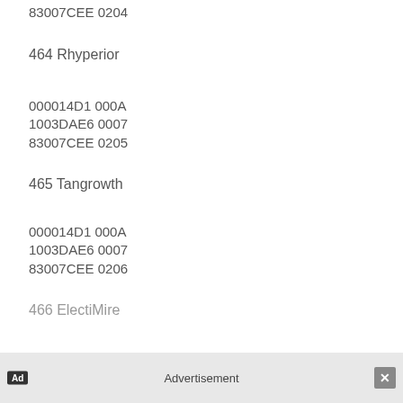83007CEE 0204
464 Rhyperior
000014D1 000A
1003DAE6 0007
83007CEE 0205
465 Tangrowth
000014D1 000A
1003DAE6 0007
83007CEE 0206
466 Electivire
000014D1 000A